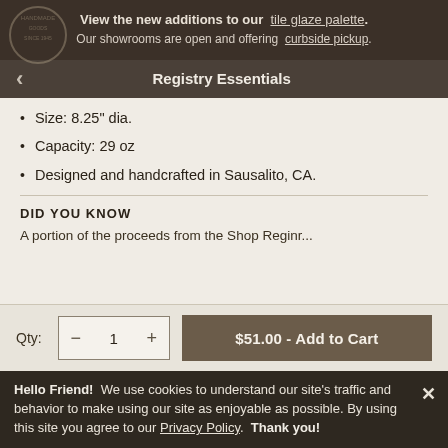View the new additions to our tile glaze palette. Our showrooms are open and offering curbside pickup.
Registry Essentials
Size: 8.25" dia.
Capacity: 29 oz
Designed and handcrafted in Sausalito, CA.
DID YOU KNOW
A portion of the proceeds from the Shop Reginr...
Qty: 1  $51.00 - Add to Cart
Hello Friend! We use cookies to understand our site’s traffic and behavior to make using our site as enjoyable as possible. By using this site you agree to our Privacy Policy. Thank you!